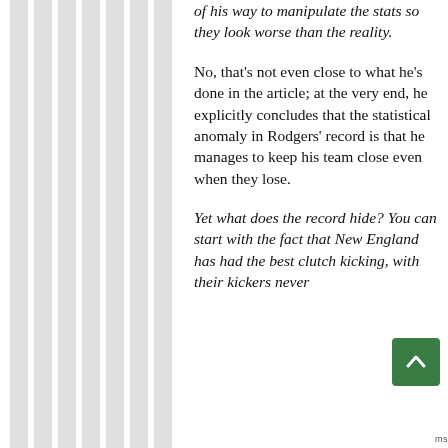of his way to manipulate the stats so they look worse than the reality.
No, that's not even close to what he's done in the article; at the very end, he explicitly concludes that the statistical anomaly in Rodgers' record is that he manages to keep his team close even when they lose.
Yet what does the record hide? You can start with the fact that New England has had the best clutch kicking, with their kickers never